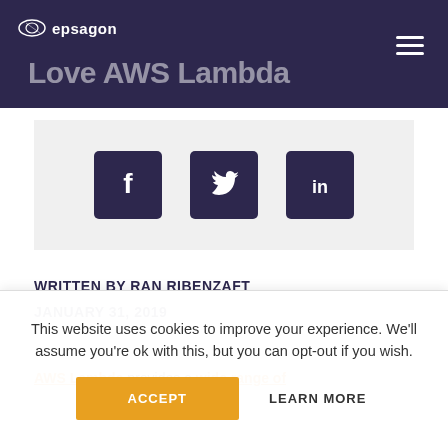Why DevOps Engineers Love AWS Lambda
[Figure (infographic): Social share buttons: Facebook, Twitter, LinkedIn icons in dark navy square buttons on light grey background]
WRITTEN BY RAN RIBENZAFT
JANUARY 31, 2019
AWS Lambda provides a wide range of
This website uses cookies to improve your experience. We'll assume you're ok with this, but you can opt-out if you wish. ACCEPT LEARN MORE